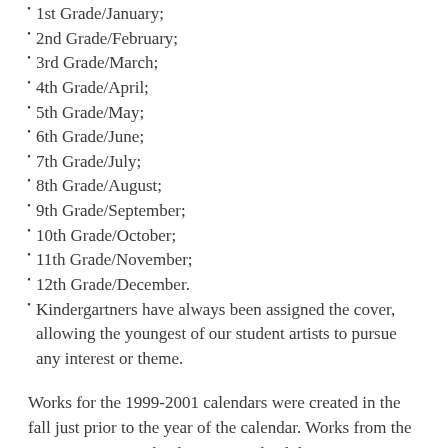1st Grade/January;
2nd Grade/February;
3rd Grade/March;
4th Grade/April;
5th Grade/May;
6th Grade/June;
7th Grade/July;
8th Grade/August;
9th Grade/September;
10th Grade/October;
11th Grade/November;
12th Grade/December.
Kindergartners have always been assigned the cover, allowing the youngest of our student artists to pursue any interest or theme.
Works for the 1999-2001 calendars were created in the fall just prior to the year of the calendar. Works from the 2002 to present calendars were judged the previous spring.
The proportions for the present width the 2002 calendars